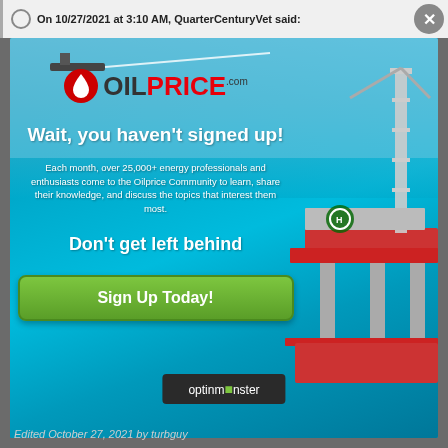On 10/27/2021 at 3:10 AM, QuarterCenturyVet said:
[Figure (screenshot): OilPrice.com popup advertisement over an ocean oil rig background. Contains OilPrice logo, headline 'Wait, you haven't signed up!', body text about 25,000+ energy professionals, subheadline 'Don't get left behind', green Sign Up Today button, and optinmonster branding bar.]
optinmonster
Edited October 27, 2021 by turbguy